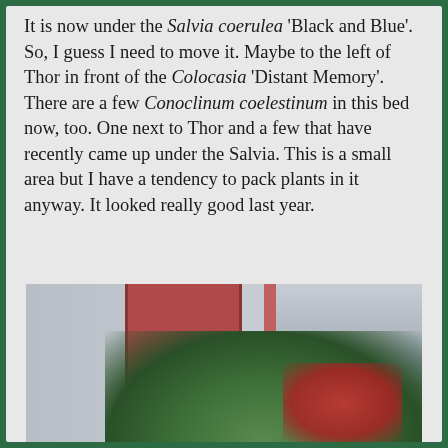It is now under the Salvia coerulea 'Black and Blue'. So, I guess I need to move it. Maybe to the left of Thor in front of the Colocasia 'Distant Memory'. There are a few Conoclinum coelestinum in this bed now, too. One next to Thor and a few that have recently came up under the Salvia. This is a small area but I have a tendency to pack plants in it anyway. It looked really good last year.
[Figure (photo): Photograph showing a window with red shutters and green and red plant foliage in the foreground, taken on a porch or exterior of a house.]